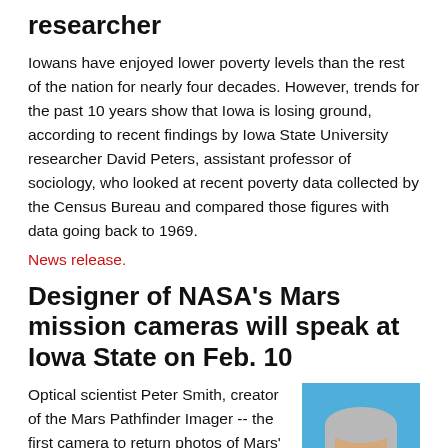researcher
Iowans have enjoyed lower poverty levels than the rest of the nation for nearly four decades. However, trends for the past 10 years show that Iowa is losing ground, according to recent findings by Iowa State University researcher David Peters, assistant professor of sociology, who looked at recent poverty data collected by the Census Bureau and compared those figures with data going back to 1969.
News release.
Designer of NASA's Mars mission cameras will speak at Iowa State on Feb. 10
Optical scientist Peter Smith, creator of the Mars Pathfinder Imager -- the first camera to return photos of Mars' surface -- will speak at Iowa State University on Thursday, Feb. 10. "The Next Phase of..."
[Figure (photo): Headshot photo of a middle-aged man with grey hair and glasses, smiling, against a blue background.]